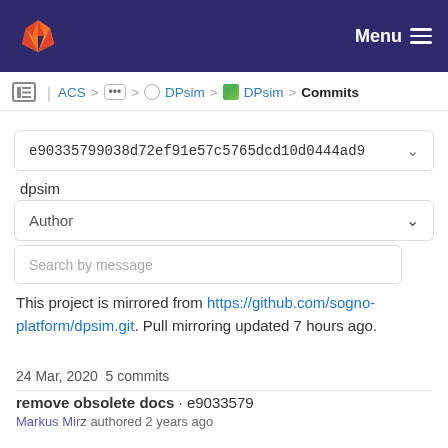[Figure (screenshot): GitLab navbar with fox logo and Menu hamburger button on dark navy background]
ACS > ... > DPsim > DPsim DPsim > Commits
e90335799038d72ef91e57c5765dcd10d0444ad9
dpsim
Author
Search by message
This project is mirrored from https://github.com/sogno-platform/dpsim.git. Pull mirroring updated 7 hours ago.
24 Mar, 2020 5 commits
remove obsolete docs · e9033579
Markus Mirz authored 2 years ago